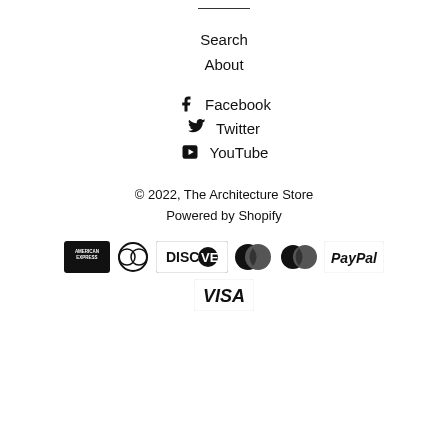Search
About
Facebook
Twitter
YouTube
© 2022, The Architecture Store
Powered by Shopify
[Figure (logo): Payment icons: American Express, Diners Club, Discover, Maestro, MasterCard, PayPal, Visa]